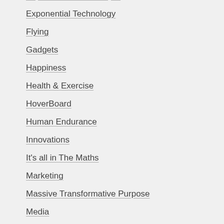Experimental Challenges
Exponential Technology
Flying
Gadgets
Happiness
Health & Exercise
HoverBoard
Human Endurance
Innovations
It's all in The Maths
Marketing
Massive Transformative Purpose
Media
Nanotechnology